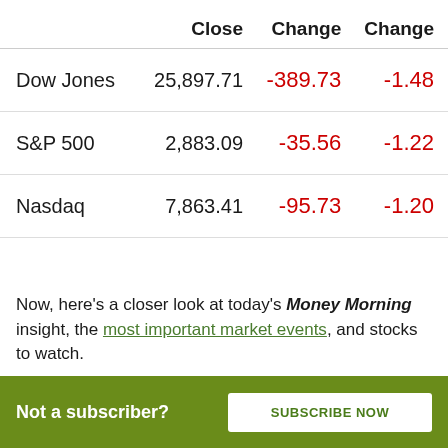|  | Close | Change | Change |
| --- | --- | --- | --- |
| Dow Jones | 25,897.71 | -389.73 | -1.48 |
| S&P 500 | 2,883.09 | -35.56 | -1.22 |
| Nasdaq | 7,863.41 | -95.73 | -1.20 |
Now, here's a closer look at today's Money Morning insight, the most important market events, and stocks to watch.
The Top Stock Market Stories for Tuesday
Not a subscriber? SUBSCRIBE NOW